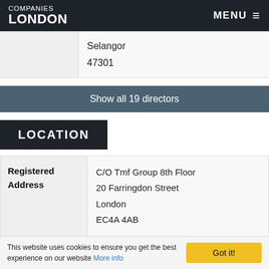COMPANIES LONDON | MENU
|  |  |
| --- | --- |
|  | Selangor
47301 |
Show all 19 directors
LOCATION
| Registered Address | C/O Tmf Group 8th Floor
20 Farringdon Street
London
EC4A 4AB |
| --- | --- |
| Region | London |
This website uses cookies to ensure you get the best experience on our website More info Got it!